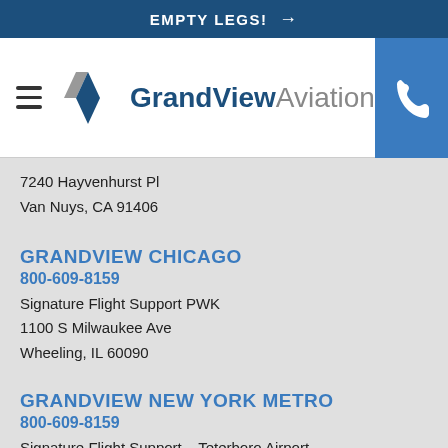EMPTY LEGS! →
[Figure (logo): GrandView Aviation logo with chevron/arrow graphic and company name]
7240 Hayvenhurst Pl
Van Nuys, CA 91406
GRANDVIEW CHICAGO
800-609-8159
Signature Flight Support PWK
1100 S Milwaukee Ave
Wheeling, IL 60090
GRANDVIEW NEW YORK METRO
800-609-8159
Signature Flight Support – Teterboro Airport
401 Industrial Avenue
Teterboro, NJ 07608